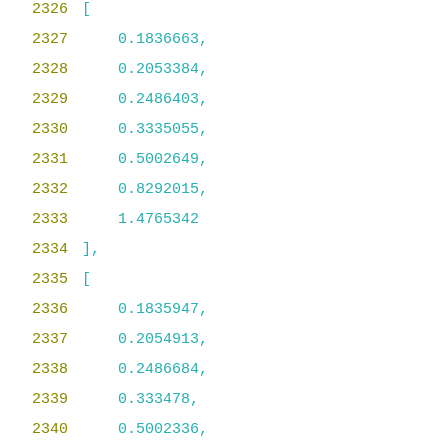2326    [
2327        0.1836663,
2328        0.2053384,
2329        0.2486403,
2330        0.3335055,
2331        0.5002649,
2332        0.8292015,
2333        1.4765342
2334    ],
2335    [
2336        0.1835947,
2337        0.2054913,
2338        0.2486684,
2339        0.333478,
2340        0.5002336,
2341        0.8283389,
2342        1.4769692
2343    ],
2344    [
2345        0.183263,
2346        0.2054216,
2347        0.2488313,